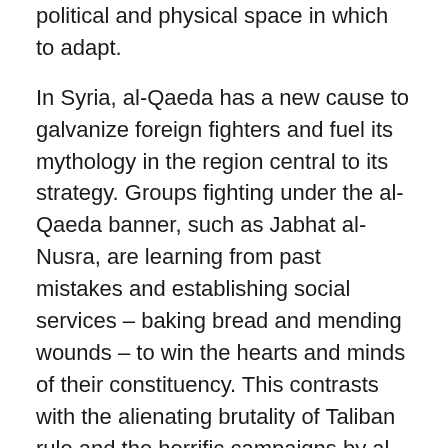political and physical space in which to adapt.
In Syria, al-Qaeda has a new cause to galvanize foreign fighters and fuel its mythology in the region central to its strategy. Groups fighting under the al-Qaeda banner, such as Jabhat al-Nusra, are learning from past mistakes and establishing social services – baking bread and mending wounds – to win the hearts and minds of their constituency. This contrasts with the alienating brutality of Taliban rule and the horrific campaigns by al-Qaeda in Iraq.
Dangerously, the fighting has stirred the historic Sunni extremist funding networks – supported by states and donors from the Arabian Peninsula – with calls from Sunni clerics to send money and manpower to fight Syrian President Bashar al-Assad and the Shiito "devils."